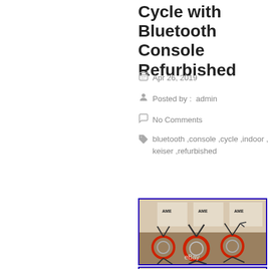Cycle with Bluetooth Console Refurbished
Apr 26, 2019
Posted by :  admin
No Comments
bluetooth ,console ,cycle ,indoor ,
keiser ,refurbished
[Figure (photo): Three Keiser indoor cycling bikes with red wheels arranged in a row in a gym/warehouse setting with AME branding backdrop. eBay watermark visible.]
[Figure (photo): Partial bottom photo showing AME signage backdrop, continuation of the gym/warehouse product listing images.]